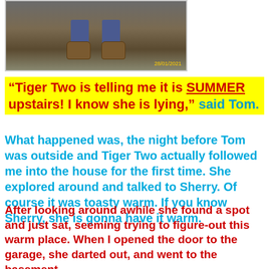[Figure (photo): Photo of a person's feet/shoes seen from above, with timestamp 28/01/2021 in yellow text at bottom right]
“Tiger Two is telling me it is SUMMER upstairs! I know she is lying,” said Tom.
What happened was, the night before Tom was outside and Tiger Two actually followed me into the house for the first time. She explored around and talked to Sherry. Of course it was toasty warm. If you know Sherry, she is gonna have it warm.
After looking around awhile she found a spot and just sat, seeming trying to figure-out this warm place. When I opened the door to the garage, she darted out, and went to the basement.